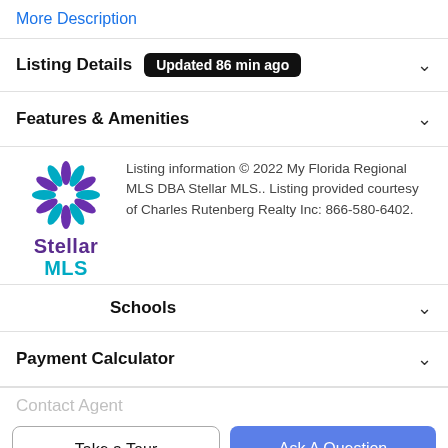More Description
Listing Details  Updated 86 min ago
Features & Amenities
Listing information © 2022 My Florida Regional MLS DBA Stellar MLS.. Listing provided courtesy of Charles Rutenberg Realty Inc: 866-580-6402.
Schools
Payment Calculator
Contact Agent
Take a Tour
Ask A Question